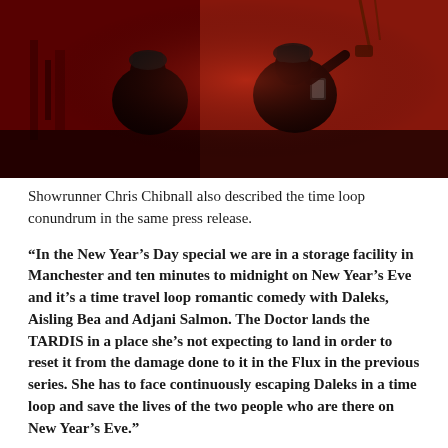[Figure (photo): Two people crouching in a dimly lit storage or industrial space bathed in red light. One person is holding what appears to be a phone or device. The scene has a dark, atmospheric quality with red-tinted lighting.]
Showrunner Chris Chibnall also described the time loop conundrum in the same press release.
“In the New Year’s Day special we are in a storage facility in Manchester and ten minutes to midnight on New Year’s Eve and it’s a time travel loop romantic comedy with Daleks, Aisling Bea and Adjani Salmon. The Doctor lands the TARDIS in a place she’s not expecting to land in order to reset it from the damage done to it in the Flux in the previous series. She has to face continuously escaping Daleks in a time loop and save the lives of the two people who are there on New Year’s Eve.”